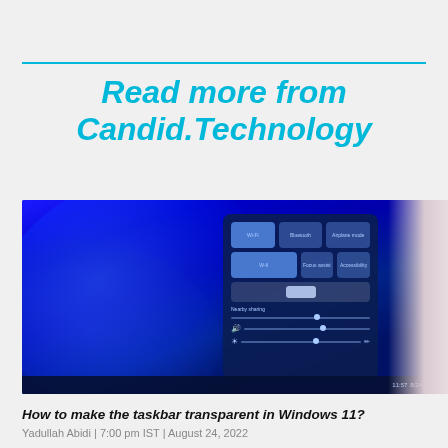Read more from Candid.Technology
[Figure (screenshot): Screenshot of Windows 11 quick settings panel on a computer with blue swirling wallpaper, showing Wi-Fi, Bluetooth, and other quick toggle tiles, along with sliders for volume/brightness]
How to make the taskbar transparent in Windows 11?
Yadullah Abidi | 7:00 pm IST | August 24, 2022